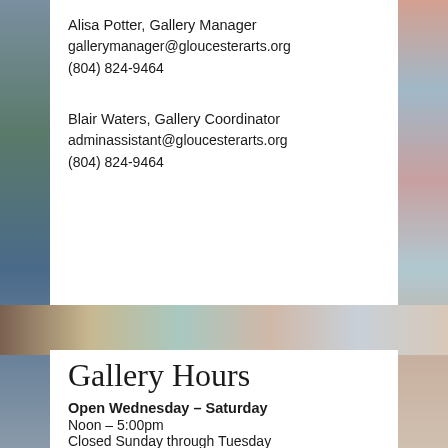Alisa Potter, Gallery Manager
gallerymanager@gloucesterarts.org
(804) 824-9464
Blair Waters, Gallery Coordinator
adminassistant@gloucesterarts.org
(804) 824-9464
Gallery Hours
Open Wednesday – Saturday
Noon – 5:00pm
Closed Sunday through Tuesday